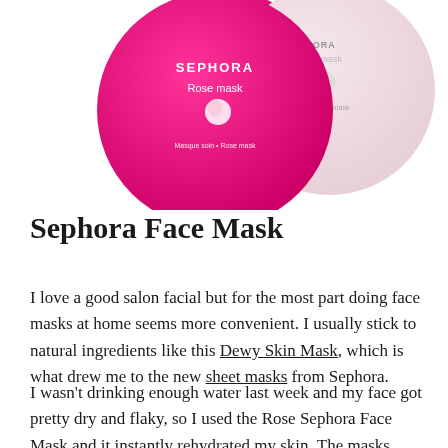[Figure (photo): Two Sephora face mask round packages — a hot pink/magenta one labeled 'SEPHORA Rose mask' on the left, and a light pink/white one labeled 'Face mask' on the right, partially overlapping each other.]
Sephora Face Mask
I love a good salon facial but for the most part doing face masks at home seems more convenient. I usually stick to natural ingredients like this Dewy Skin Mask, which is what drew me to the new sheet masks from Sephora.
I wasn't drinking enough water last week and my face got pretty dry and flaky, so I used the Rose Sephora Face Mask and it instantly rehydrated my skin. The masks smell amazing and are